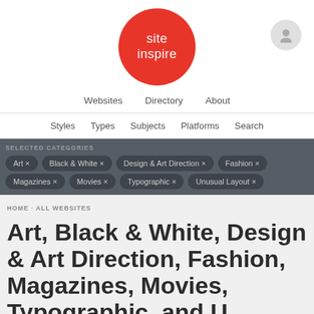[Figure (logo): SiteInspire logo: red circle with white text 'site inspire']
Websites   Directory   About
Styles   Types   Subjects   Platforms   Search
SELECTED CATEGORIES
Art ×
Black & White ×
Design & Art Direction ×
Fashion ×
Magazines ×
Movies ×
Typographic ×
Unusual Layout ×
HOME · ALL WEBSITES
Art, Black & White, Design & Art Direction, Fashion, Magazines, Movies, Typographic, and Unusual Layout websites